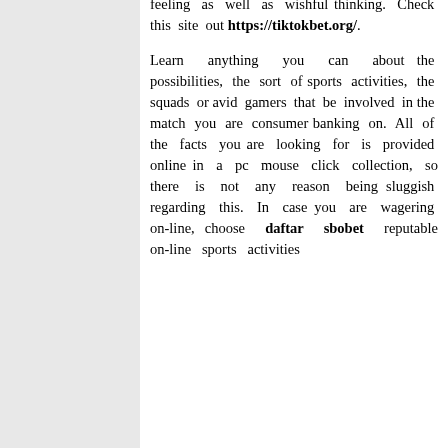feeling as well as wishful thinking. Check this site out https://tiktokbet.org/.
Learn anything you can about the possibilities, the sort of sports activities, the squads or avid gamers that be involved in the match you are consumer banking on. All of the facts you are looking for is provided online in a pc mouse click collection, so there is not any reason being sluggish regarding this. In case you are wagering on-line, choose daftar sbobet reputable on-line sports activities